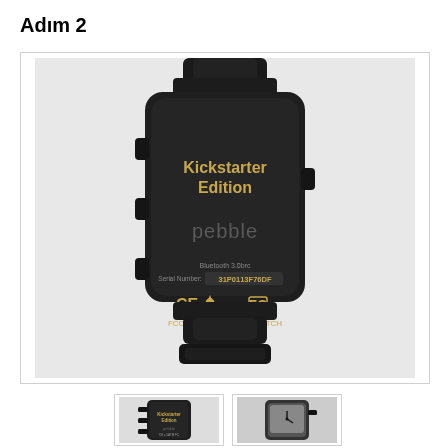Adım 2
[Figure (photo): Back of a Pebble Kickstarter Edition smartwatch in black, showing the rear panel with text: Kickstarter Edition, pebble logo, serial number 31P0113F76DF, CE mark, water drop icon, 5 ATM, FCC logo, FCC ID: RGQ-PEBBLE-WATCH, IC:10805A-PEBBLE1. Black rubber watch band visible top and bottom.]
[Figure (photo): Small thumbnail of the same Pebble Kickstarter Edition watch back, showing text and logos.]
[Figure (photo): Small thumbnail of Pebble watch face/front showing a clock display.]